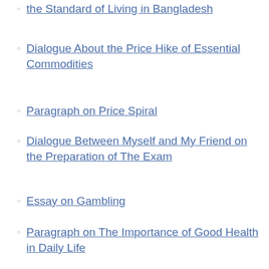the Standard of Living in Bangladesh
Dialogue About the Price Hike of Essential Commodities
Paragraph on Price Spiral
Dialogue Between Myself and My Friend on the Preparation of The Exam
Essay on Gambling
Paragraph on The Importance of Good Health in Daily Life
Essay on Security Cameras and Privacy
Paragraph on Buying Some Vegetables in a Kitchen Market
Tags: PROPERTIES PROPERTY SAFEGUARD